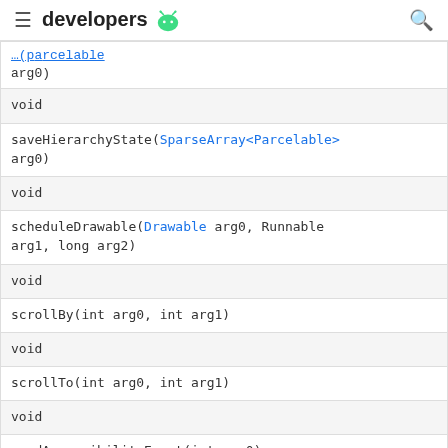developers (Android logo)
| (partial link) arg0) |
| void |
| saveHierarchyState(SparseArray<Parcelable> arg0) |
| void |
| scheduleDrawable(Drawable arg0, Runnable arg1, long arg2) |
| void |
| scrollBy(int arg0, int arg1) |
| void |
| scrollTo(int arg0, int arg1) |
| void |
| sendAccessibilityEvent(int arg0) |
| void |